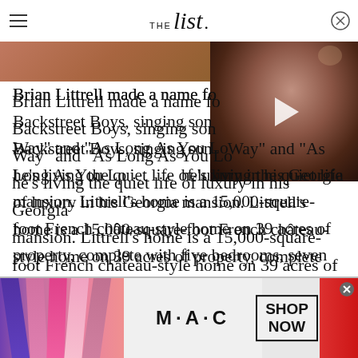THE list
[Figure (photo): Photo strip and video thumbnail of a woman with dark hair]
Brian Littrell made a name for himself as one of the Backstreet Boys, singing songs like "I Want It That Way" and "As Long As You Love Me." These days, he's living the quiet life of luxury in his Georgia mansion. Littrell's home is a 15,000-square-foot French château-style home on 39 acres of property, complete with five bedrooms, seven bathrooms, a tennis court, a lake, and a recording studio, as TMZ reported.
[Figure (photo): MAC cosmetics advertisement showing lipsticks with SHOP NOW button]